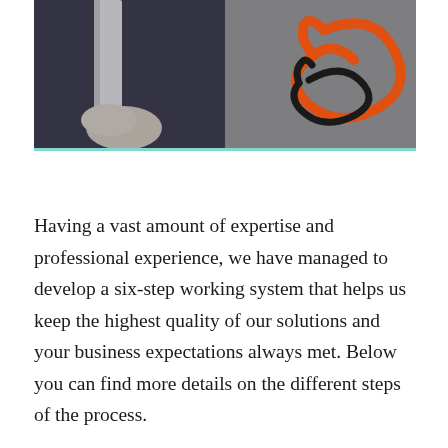[Figure (photo): A photo showing carpet cleaning or installation work: on the left side a dark grey carpet being worked on near a white furniture leg with a cloth visible, and on the right side an orange hose/cord coiled on grey carpet next to a black hose.]
Having a vast amount of expertise and professional experience, we have managed to develop a six-step working system that helps us keep the highest quality of our solutions and your business expectations always met. Below you can find more details on the different steps of the process.